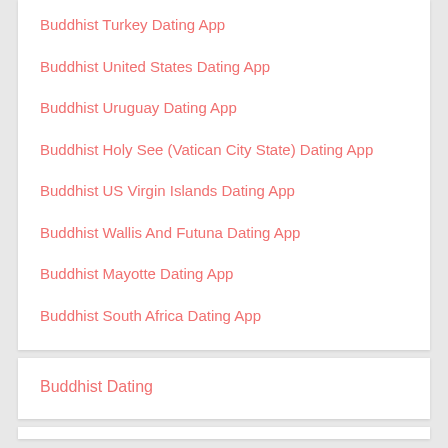Buddhist Turkey Dating App
Buddhist United States Dating App
Buddhist Uruguay Dating App
Buddhist Holy See (Vatican City State) Dating App
Buddhist US Virgin Islands Dating App
Buddhist Wallis And Futuna Dating App
Buddhist Mayotte Dating App
Buddhist South Africa Dating App
Buddhist Dating